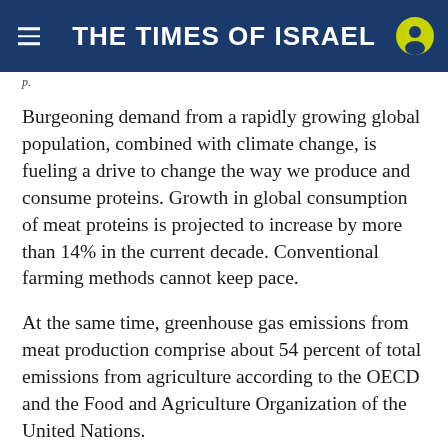THE TIMES OF ISRAEL
Burgeoning demand from a rapidly growing global population, combined with climate change, is fueling a drive to change the way we produce and consume proteins. Growth in global consumption of meat proteins is projected to increase by more than 14% in the current decade. Conventional farming methods cannot keep pace.
At the same time, greenhouse gas emissions from meat production comprise about 54 percent of total emissions from agriculture according to the OECD and the Food and Agriculture Organization of the United Nations.